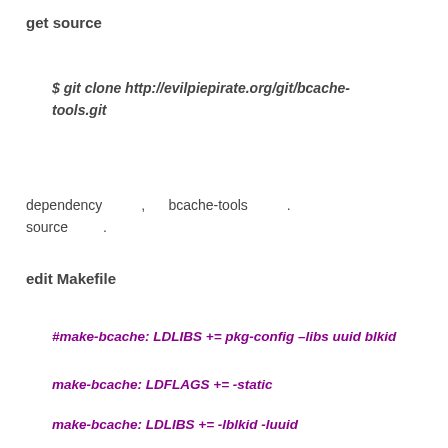get source
$ git clone http://evilpiepirate.org/git/bcache-tools.git
dependency , bcache-tools . source .
edit Makefile
#make-bcache: LDLIBS += pkg-config –libs uuid blkid
make-bcache: LDFLAGS += -static
make-bcache: LDLIBS += -lblkid -luuid